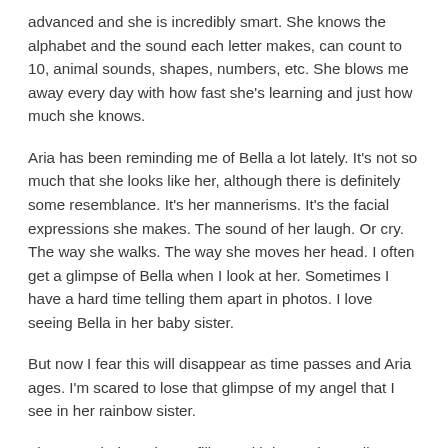advanced and she is incredibly smart. She knows the alphabet and the sound each letter makes, can count to 10, animal sounds, shapes, numbers, etc. She blows me away every day with how fast she's learning and just how much she knows.
Aria has been reminding me of Bella a lot lately. It's not so much that she looks like her, although there is definitely some resemblance. It's her mannerisms. It's the facial expressions she makes. The sound of her laugh. Or cry. The way she walks. The way she moves her head. I often get a glimpse of Bella when I look at her. Sometimes I have a hard time telling them apart in photos. I love seeing Bella in her baby sister.
But now I fear this will disappear as time passes and Aria ages. I'm scared to lose that glimpse of my angel that I see in her rainbow sister.
These reminders always fill me with love. These glimpses are like magic to my day. It's like Bella is saying hello.
I couldn't help but think about Bella yesterday morning. As